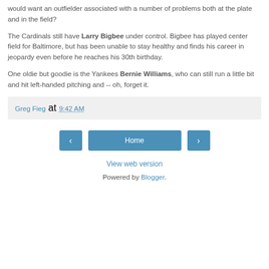would want an outfielder associated with a number of problems both at the plate and in the field?
The Cardinals still have Larry Bigbee under control. Bigbee has played center field for Baltimore, but has been unable to stay healthy and finds his career in jeopardy even before he reaches his 30th birthday.
One oldie but goodie is the Yankees Bernie Williams, who can still run a little bit and hit left-handed pitching and -- oh, forget it.
Greg Fieg at 9:42 AM
Home
View web version
Powered by Blogger.